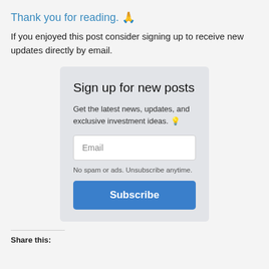Thank you for reading. 🙏
If you enjoyed this post consider signing up to receive new updates directly by email.
Sign up for new posts
Get the latest news, updates, and exclusive investment ideas. 💡
Email
No spam or ads. Unsubscribe anytime.
Subscribe
Share this: